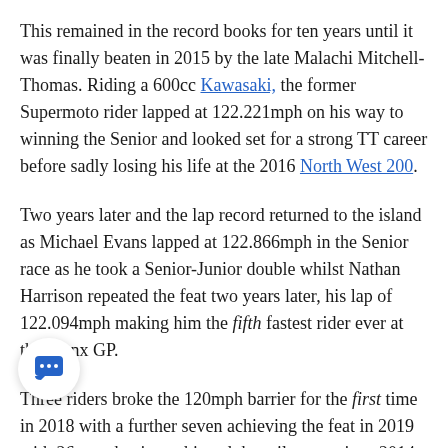This remained in the record books for ten years until it was finally beaten in 2015 by the late Malachi Mitchell-Thomas. Riding a 600cc Kawasaki, the former Supermoto rider lapped at 122.221mph on his way to winning the Senior and looked set for a strong TT career before sadly losing his life at the 2016 North West 200.
Two years later and the lap record returned to the island as Michael Evans lapped at 122.866mph in the Senior race as he took a Senior-Junior double whilst Nathan Harrison repeated the feat two years later, his lap of 122.094mph making him the fifth fastest rider ever at the Manx GP.
Three riders broke the 120mph barrier for the first time in 2018 with a further seven achieving the feat in 2019 with 26 now having achieved the milestone since 2014.
Evans' Manx GP lap record is currently 12.586mph slower than Peter Hickman's outright lap record set